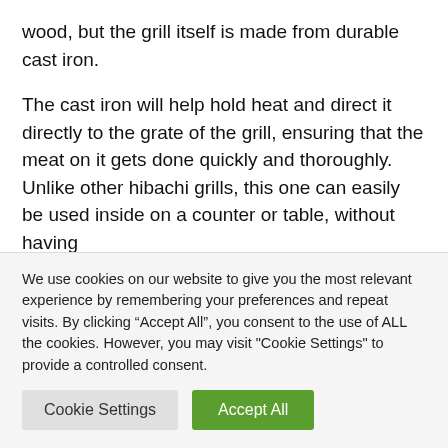wood, but the grill itself is made from durable cast iron.
The cast iron will help hold heat and direct it directly to the grate of the grill, ensuring that the meat on it gets done quickly and thoroughly. Unlike other hibachi grills, this one can easily be used inside on a counter or table, without having
We use cookies on our website to give you the most relevant experience by remembering your preferences and repeat visits. By clicking “Accept All”, you consent to the use of ALL the cookies. However, you may visit "Cookie Settings" to provide a controlled consent.